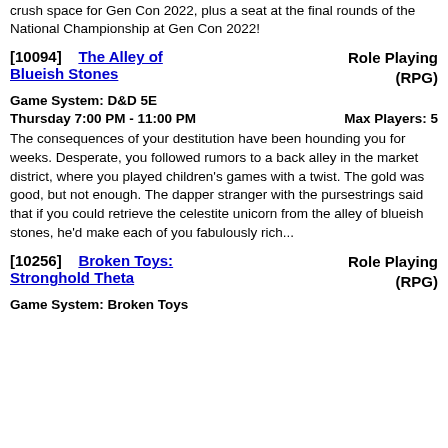crush space for Gen Con 2022, plus a seat at the final rounds of the National Championship at Gen Con 2022!
[10094]    The Alley of Blueish Stones    Role Playing (RPG)
Game System: D&D 5E
Thursday 7:00 PM - 11:00 PM    Max Players: 5
The consequences of your destitution have been hounding you for weeks. Desperate, you followed rumors to a back alley in the market district, where you played children's games with a twist. The gold was good, but not enough. The dapper stranger with the pursestrings said that if you could retrieve the celestite unicorn from the alley of blueish stones, he'd make each of you fabulously rich...
[10256]    Broken Toys: Stronghold Theta    Role Playing (RPG)
Game System: Broken Toys